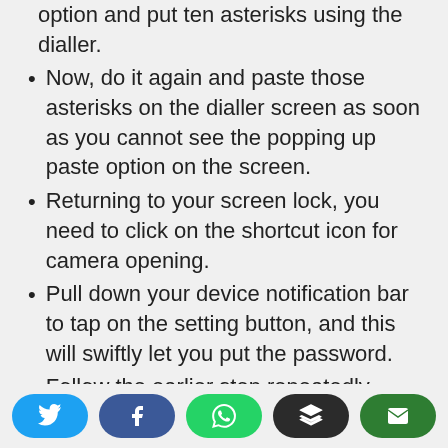option and put ten asterisks using the dialler.
Now, do it again and paste those asterisks on the dialler screen as soon as you cannot see the popping up paste option on the screen.
Returning to your screen lock, you need to click on the shortcut icon for camera opening.
Pull down your device notification bar to tap on the setting button, and this will swiftly let you put the password.
Follow the earlier step repeatedly
Share buttons: Twitter, Facebook, WhatsApp, Buffer, Email